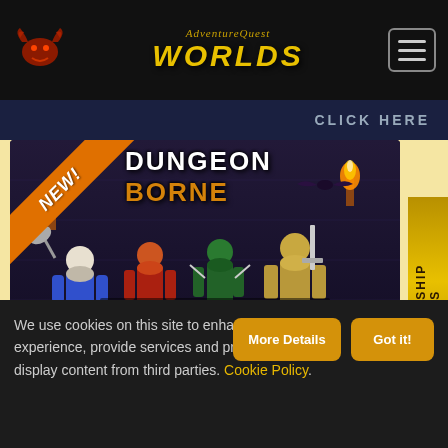AdventureQuest Worlds
[Figure (screenshot): Click Here banner partial screenshot from AdventureQuest Worlds website]
[Figure (illustration): Dungeonborne advertisement: NEW! banner, Dungeon Borne story-based card game with characters (mage, warrior, ninja, knight), torches, bat, slime, treasure chest. Google Play and App Store download buttons.]
We use cookies on this site to enhance your experience, provide services and products, and display content from third parties. Cookie Policy.